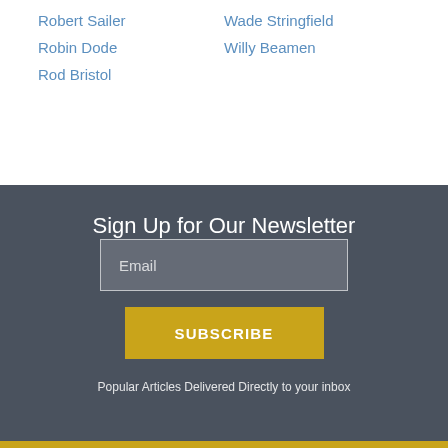Robert Sailer
Wade Stringfield
Robin Dode
Willy Beamen
Rod Bristol
Sign Up for Our Newsletter
Email
SUBSCRIBE
Popular Articles Delivered Directly to your inbox